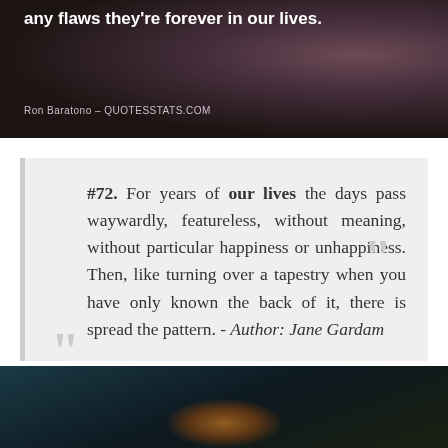[Figure (photo): Dark background photo with flowers (purple/pink blooms) and overlaid white bold text reading 'any flaws they're forever in our lives.' with attribution 'Ron Baratono - QUOTESSTATS.COM']
#72. For years of our lives the days pass waywardly, featureless, without meaning, without particular happiness or unhappiness. Then, like turning over a tapestry when you have only known the back of it, there is spread the pattern. - Author: Jane Gardam
[Figure (photo): Dark teal/navy background photo with a warm orange glow at the bottom center, possibly showing silhouettes or natural elements against a dark sky.]